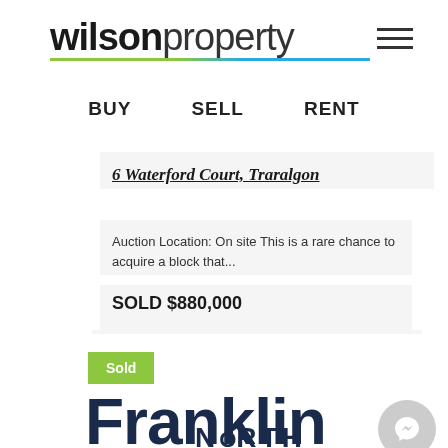[Figure (logo): Wilson Property logo with bold 'wilson' and light 'property' text, with a two-tone green and blue underline]
[Figure (other): Hamburger menu icon (three horizontal lines)]
BUY   SELL   RENT
6 Waterford Court, Traralgon
Auction Location: On site This is a rare chance to acquire a block that...
SOLD $880,000
Sold
Franklin NORTH